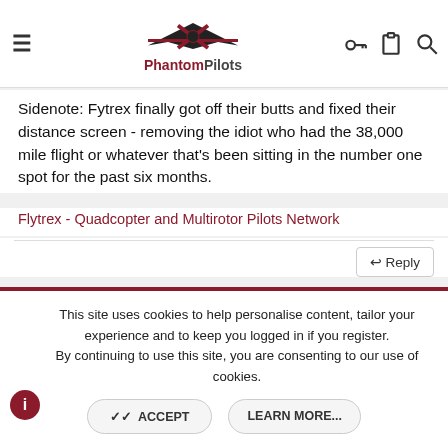PhantomPilots
Sidenote: Fytrex finally got off their butts and fixed their distance screen - removing the idiot who had the 38,000 mile flight or whatever that's been sitting in the number one spot for the past six months.
Flytrex - Quadcopter and Multirotor Pilots Network
[Figure (screenshot): Text editor toolbar with Bold (B), Italic (I), and other formatting icons, plus a document preview icon on the right. Below shows 'Write your reply...' placeholder text.]
This site uses cookies to help personalise content, tailor your experience and to keep you logged in if you register.
By continuing to use this site, you are consenting to our use of cookies.